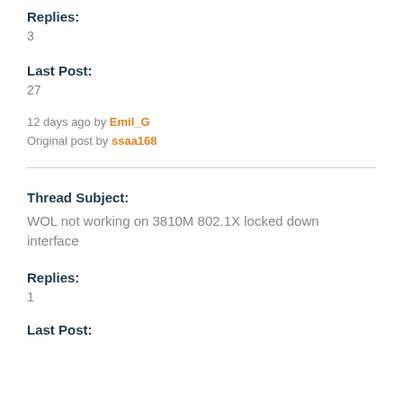Replies:
3
Last Post:
27
12 days ago by Emil_G
Original post by ssaa168
Thread Subject:
WOL not working on 3810M 802.1X locked down interface
Replies:
1
Last Post: